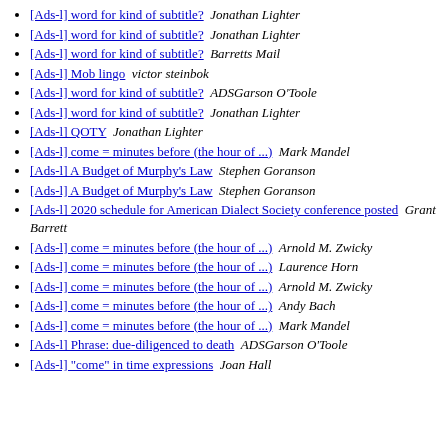[Ads-l] word for kind of subtitle?  Jonathan Lighter
[Ads-l] word for kind of subtitle?  Jonathan Lighter
[Ads-l] word for kind of subtitle?  Barretts Mail
[Ads-l] Mob lingo  victor steinbok
[Ads-l] word for kind of subtitle?  ADSGarson O'Toole
[Ads-l] word for kind of subtitle?  Jonathan Lighter
[Ads-l] QOTY  Jonathan Lighter
[Ads-l] come = minutes before (the hour of ...)  Mark Mandel
[Ads-l] A Budget of Murphy's Law  Stephen Goranson
[Ads-l] A Budget of Murphy's Law  Stephen Goranson
[Ads-l] 2020 schedule for American Dialect Society conference posted  Grant Barrett
[Ads-l] come = minutes before (the hour of ...)  Arnold M. Zwicky
[Ads-l] come = minutes before (the hour of ...)  Laurence Horn
[Ads-l] come = minutes before (the hour of ...)  Arnold M. Zwicky
[Ads-l] come = minutes before (the hour of ...)  Andy Bach
[Ads-l] come = minutes before (the hour of ...)  Mark Mandel
[Ads-l] Phrase: due-diligenced to death  ADSGarson O'Toole
[Ads-l] "come" in time expressions  Joan Hall